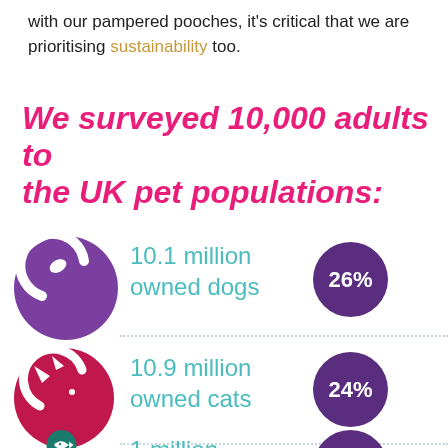with our pampered pooches, it's critical that we are prioritising sustainability too.
We surveyed 10,000 adults to the UK pet populations:
[Figure (infographic): Dog icon (purple circle with white dog silhouette), text '10.1 million owned dogs', purple circle badge '26%']
[Figure (infographic): Cat icon (pink/crimson circle with white cat silhouette), text '10.9 million owned cats', purple circle badge '24%']
[Figure (infographic): Teal/green circle with white fish silhouette (partially visible), text '1 million' (partially visible)]